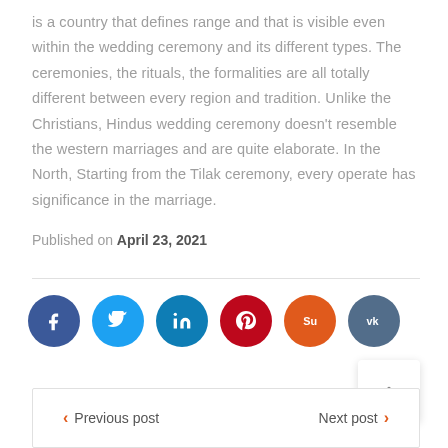is a country that defines range and that is visible even within the wedding ceremony and its different types. The ceremonies, the rituals, the formalities are all totally different between every region and tradition. Unlike the Christians, Hindus wedding ceremony doesn't resemble the western marriages and are quite elaborate. In the North, Starting from the Tilak ceremony, every operate has significance in the marriage.
Published on April 23, 2021
[Figure (other): Social media share buttons: Facebook (dark blue), Twitter (light blue), LinkedIn (blue), Pinterest (red), StumbleUpon (orange-red), VK (slate blue)]
[Figure (other): Scroll to top button with upward chevron arrow]
< Previous post    Next post >